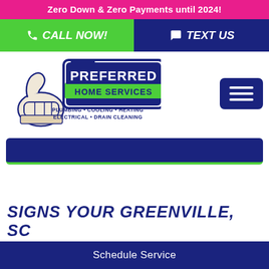Zero Down & Zero Payments until 2024!
CALL NOW!
TEXT US
[Figure (logo): Preferred Home Services logo with thumbs-up graphic. Shows 'PREFERRED HOME SERVICES' in dark blue and green banner. Tagline: PLUMBING • COOLING • HEATING ELECTRICAL • DRAIN CLEANING]
SIGNS YOUR GREENVILLE, SC
Schedule Service